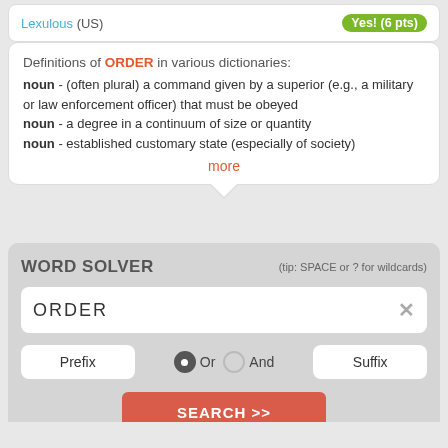Lexulous (US)   Yes! (6 pts)
Definitions of ORDER in various dictionaries:
noun - (often plural) a command given by a superior (e.g., a military or law enforcement officer) that must be obeyed
noun - a degree in a continuum of size or quantity
noun - established customary state (especially of society)
more
WORD SOLVER   (tip: SPACE or ? for wildcards)
ORDER
Prefix   Or   And   Suffix
SEARCH >>